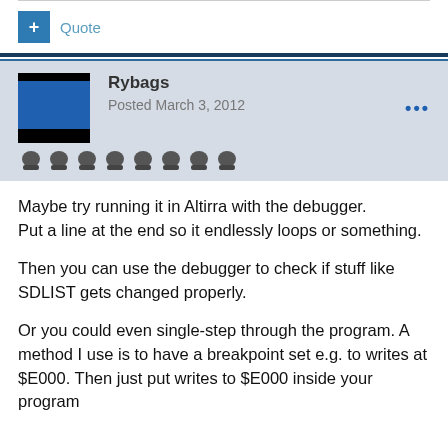Quote
Rybags
Posted March 3, 2012
Maybe try running it in Altirra with the debugger.
Put a line at the end so it endlessly loops or something.
Then you can use the debugger to check if stuff like SDLIST gets changed properly.
Or you could even single-step through the program. A method I use is to have a breakpoint set e.g. to writes at $E000. Then just put writes to $E000 inside your program